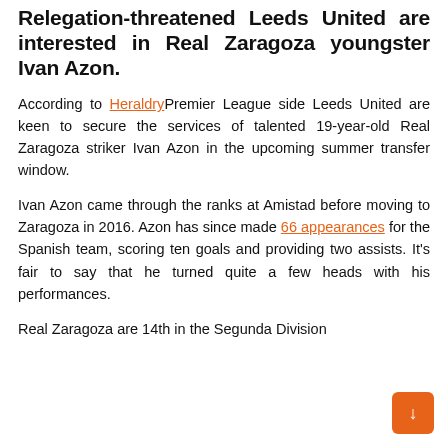Relegation-threatened Leeds United are interested in Real Zaragoza youngster Ivan Azon.
According to HeraldryPremier League side Leeds United are keen to secure the services of talented 19-year-old Real Zaragoza striker Ivan Azon in the upcoming summer transfer window.
Ivan Azon came through the ranks at Amistad before moving to Zaragoza in 2016. Azon has since made 66 appearances for the Spanish team, scoring ten goals and providing two assists. It's fair to say that he turned quite a few heads with his performances.
Real Zaragoza are 14th in the Segunda Division